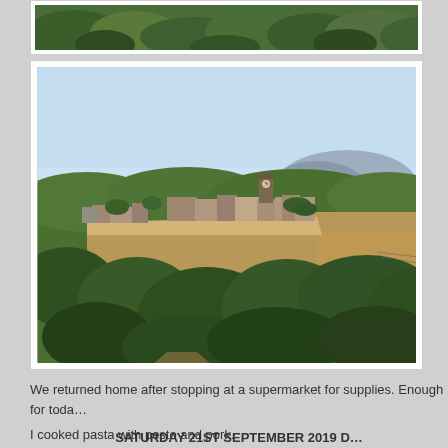[Figure (photo): Top portion of a landscape photo showing dense green treetops/forest canopy, partially cropped at top of page.]
[Figure (photo): Photo of a hilltop town (likely Civita di Bagnoregio, Italy) perched on a dramatic cliff of tufa rock, surrounded by lush green vegetation and a valley. A blue sky and distant mountain range visible in the background. A tall tower/church bell tower visible on the summit.]
We returned home after stopping at a supermarket for supplies. Enough for toda… I cooked pasta with pesto and pork.
SATURDAY 21ST SEPTEMBER 2019 D…